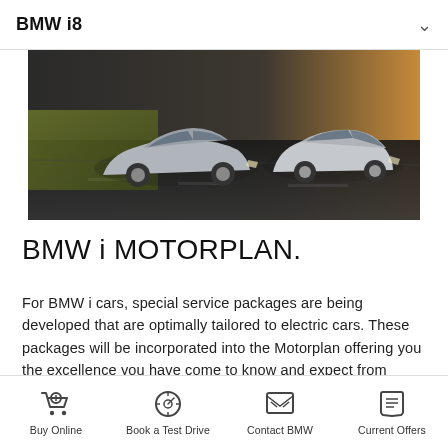BMW i8
[Figure (photo): Two BMW i electric cars driving on a road at speed — a silver BMW i8 sports car on the left and a silver BMW i3 on the right, motion blur in background with warm orange sky tones]
BMW i MOTORPLAN.
For BMW i cars, special service packages are being developed that are optimally tailored to electric cars. These packages will be incorporated into the Motorplan offering you the excellence you have come to know and expect from BMW.
Buy Online | Book a Test Drive | Contact BMW | Current Offers